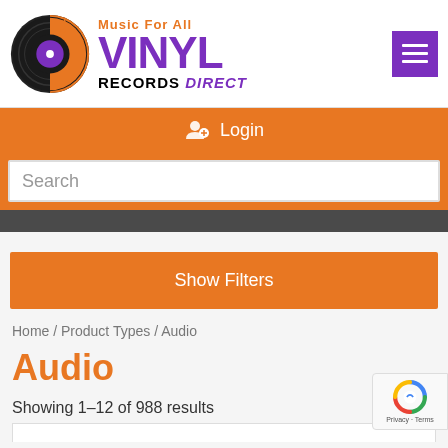[Figure (logo): Vinyl Records Direct logo with vinyl record icon, orange/purple/black color scheme]
Login
Search
Show Filters
Home / Product Types / Audio
Audio
Showing 1–12 of 988 results